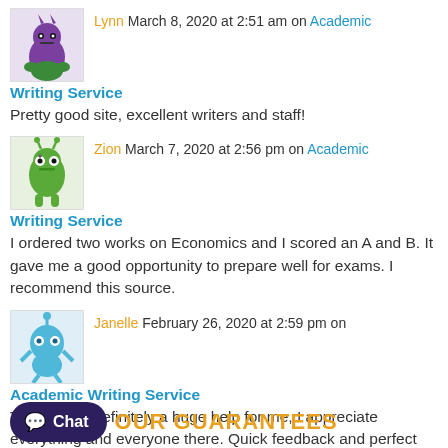Lynn March 8, 2020 at 2:51 am on Academic Writing Service
Pretty good site, excellent writers and staff!
Zion March 7, 2020 at 2:56 pm on Academic Writing Service
I ordered two works on Economics and I scored an A and B. It gave me a good opportunity to prepare well for exams. I recommend this source.
Janelle February 26, 2020 at 2:59 pm on Academic Writing Service
Thank you! Definitely a huge help for me, I appreciate everything and everyone there. Quick feedback and perfect papers.
Chat
OUR GUARANTEES